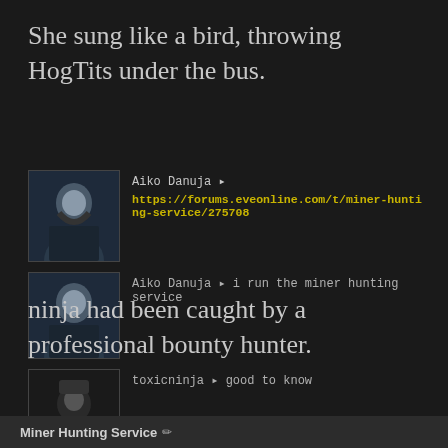She sung like a bird, throwing HogTits under the bus.
[Figure (screenshot): Three chat message rows from a game interface. Row 1: avatar of Aiko Danuja with a link https://forums.eveonline.com/t/miner-hunting-service/275708. Row 2: avatar of Aiko Danuja with message 'i run the miner hunting service'. Row 3: avatar of toxicninja with message 'good to know'.]
ninja had been caught by a professional bounty hunter.
Miner Hunting Service ✏